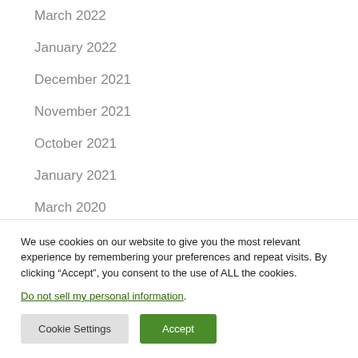March 2022
January 2022
December 2021
November 2021
October 2021
January 2021
March 2020
November 2019
We use cookies on our website to give you the most relevant experience by remembering your preferences and repeat visits. By clicking “Accept”, you consent to the use of ALL the cookies.
Do not sell my personal information.
Cookie Settings  Accept